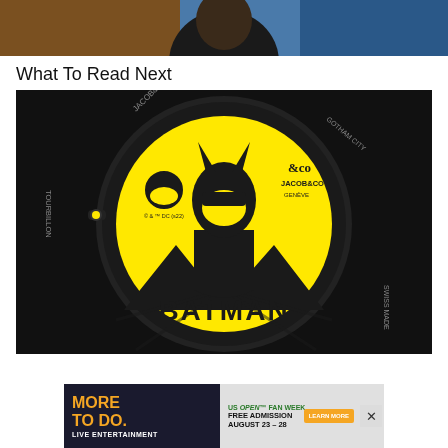[Figure (photo): Partial top photo showing a person against a colorful urban background, cropped at the bottom]
What To Read Next
[Figure (photo): Jacob & Co Gotham City Tourbillon watch with yellow Batman face dial, black case, showing Batman graphic and text BATMAN on the dial face]
[Figure (photo): US Open Fan Week advertisement banner: MORE TO DO. LIVE ENTERTAINMENT / Free Admission August 23-28 / Learn More button]